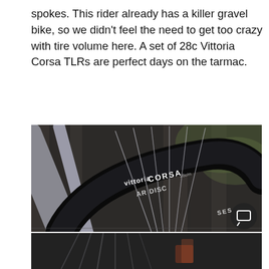spokes. This rider already has a killer gravel bike, so we didn't feel the need to get too crazy with tire volume here. A set of 28c Vittoria Corsa TLRs are perfect days on the tarmac.
[Figure (photo): Close-up photo of a Vittoria Corsa tire mounted on a bicycle wheel with visible spokes and rim. The tire sidewall reads 'Vittoria CORSA' and 'AR DISC' and 'SES'. Background shows wooden fence and foliage, blurred. A chat/comment icon appears in the bottom right corner.]
[Figure (photo): Partial bottom photo showing bicycle wheel spokes and components, continuation of the wheel detail from above.]